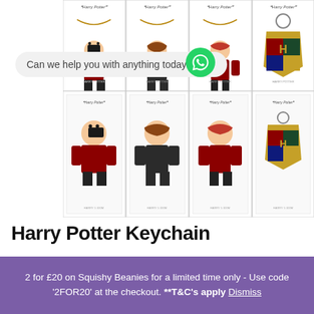[Figure (illustration): Four Harry Potter character keychains (Harry, Hermione, Ron, Hogwarts crest) shown in product packaging, displayed in a 2x4 grid with Harry Potter branding at top]
Can we help you with anything today?
Harry Potter Keychain
£1.99  £0.99
Harry Potter Keychain
1
Buy now
2 for £20 on Squishy Beanies for a limited time only - Use code '2FOR20' at the checkout. **T&C's apply Dismiss